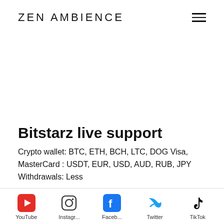ZEN AMBIENCE
Bitstarz live support
Crypto wallet: BTC, ETH, BCH, LTC, DOG Visa, MasterCard : USDT, EUR, USD, AUD, RUB, JPY Withdrawals: Less
[Figure (other): Social media bar with icons for YouTube, Instagram, Facebook, Twitter, TikTok]